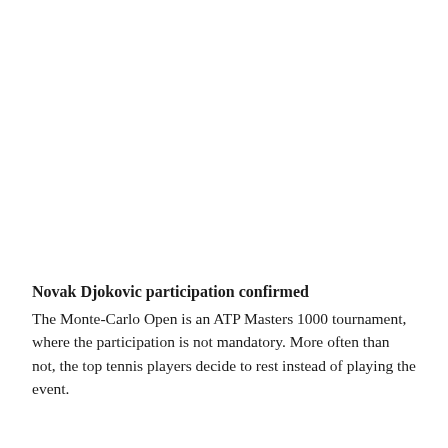Novak Djokovic participation confirmed
The Monte-Carlo Open is an ATP Masters 1000 tournament, where the participation is not mandatory. More often than not, the top tennis players decide to rest instead of playing the event.